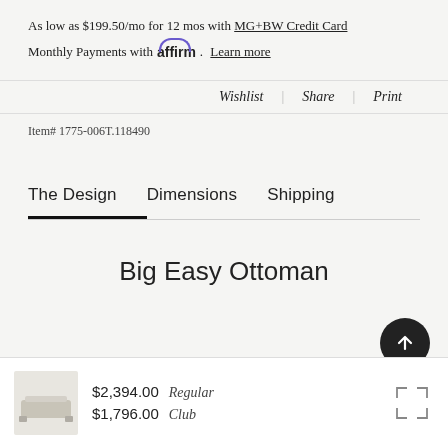As low as $199.50/mo for 12 mos with MG+BW Credit Card
Monthly Payments with affirm. Learn more
Wishlist | Share | Print
Item# 1775-006T.118490
The Design   Dimensions   Shipping
Big Easy Ottoman
$2,394.00 Regular  $1,796.00 Club